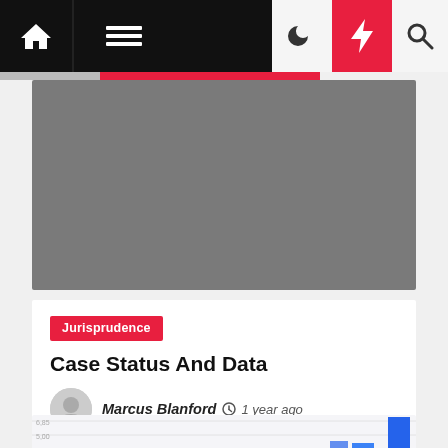Navigation bar with home, menu, dark mode, breaking news, and search icons
[Figure (photo): Hero image placeholder — gray rectangle]
Jurisprudence
Case Status And Data
Marcus Blanford  1 year ago
[Figure (bar-chart): Partial bar chart visible at bottom of page with y-axis labels and at least one blue bar visible]